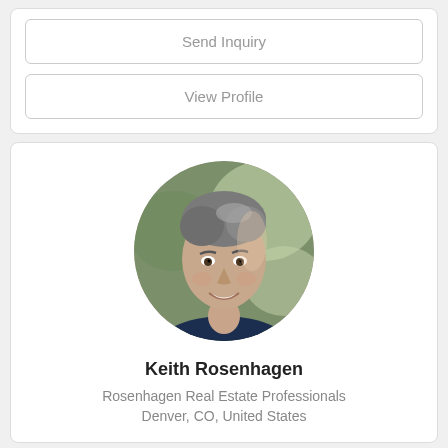[Figure (other): Send Inquiry button (outlined rectangle)]
[Figure (other): View Profile button (outlined rectangle)]
[Figure (photo): Circular profile photo of Keith Rosenhagen, a middle-aged man with gray hair, smiling, wearing a dark blazer, photographed outdoors with blurred green background]
Keith Rosenhagen
Rosenhagen Real Estate Professionals
Denver, CO, United States